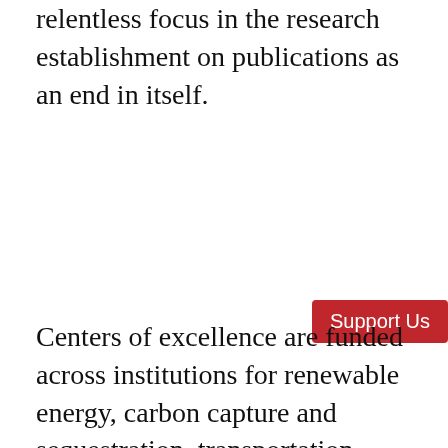relentless focus in the research establishment on publications as an end in itself.
Centers of excellence are funded across institutions for renewable energy, carbon capture and sequestration, transportation, battery technologies, etc. But the actual climate